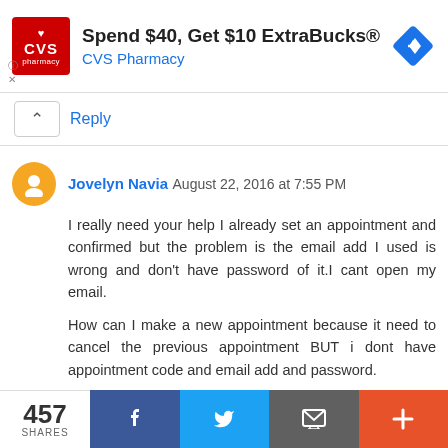[Figure (other): CVS Pharmacy advertisement banner: red CVS logo, text 'Spend $40, Get $10 ExtraBucks® CVS Pharmacy', blue diamond navigation icon]
Reply
Jovelyn Navia  August 22, 2016 at 7:55 PM
I really need your help I already set an appointment and confirmed but the problem is the email add I used is wrong and don't have password of it.I cant open my email.

How can I make a new appointment because it need to cancel the previous appointment BUT i dont have appointment code and email add and password.
Reply
457
SHARES